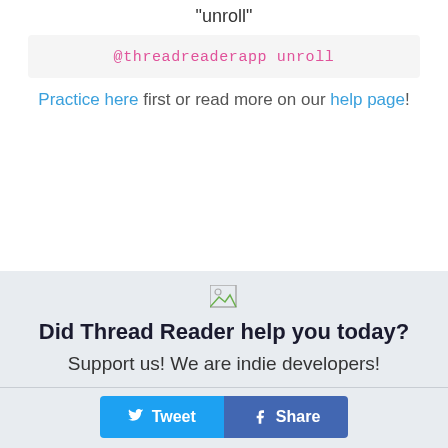"unroll"
@threadreaderapp unroll
Practice here first or read more on our help page!
[Figure (illustration): Small broken/placeholder image icon]
Did Thread Reader help you today?
Support us! We are indie developers!
Tweet   Share